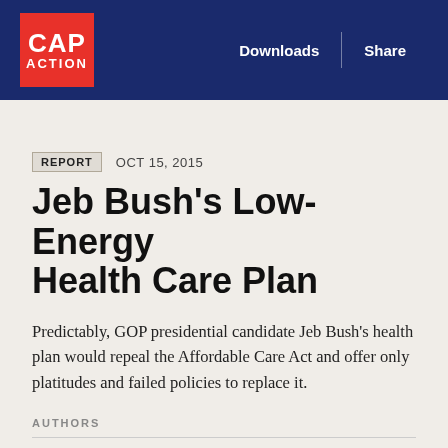CAP ACTION | Downloads | Share
REPORT   OCT 15, 2015
Jeb Bush's Low-Energy Health Care Plan
Predictably, GOP presidential candidate Jeb Bush's health plan would repeal the Affordable Care Act and offer only platitudes and failed policies to replace it.
AUTHORS
Anna Chu
Kristen Ellingboe